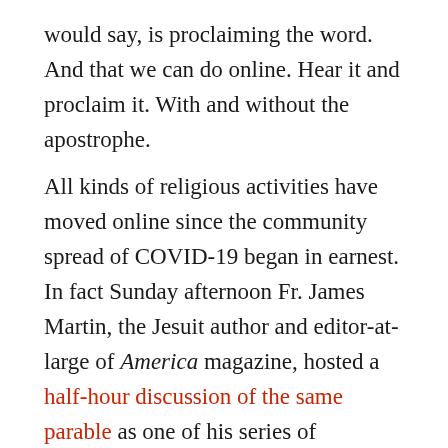would say, is proclaiming the word. And that we can do online. Hear it and proclaim it. With and without the apostrophe.
All kinds of religious activities have moved online since the community spread of COVID-19 began in earnest. In fact Sunday afternoon Fr. James Martin, the Jesuit author and editor-at-large of America magazine, hosted a half-hour discussion of the same parable as one of his series of interactive Daily Faith Sharing sessions on Facebook. He's been doing them since the pandemic hit in March.